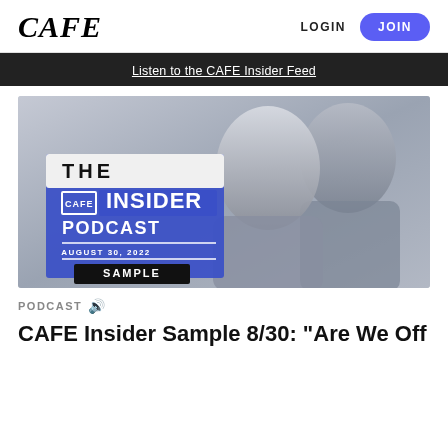CAFE
LOGIN  JOIN
Listen to the CAFE Insider Feed
[Figure (photo): The CAFE Insider Podcast promotional image dated August 30, 2022, showing two people (a woman and a man) with text 'THE CAFE INSIDER PODCAST AUGUST 30, 2022 SAMPLE']
PODCAST
CAFE Insider Sample 8/30: "Are We Off